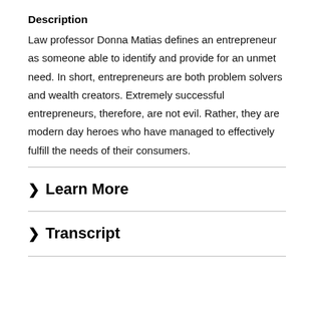Description
Law professor Donna Matias defines an entrepreneur as someone able to identify and provide for an unmet need. In short, entrepreneurs are both problem solvers and wealth creators. Extremely successful entrepreneurs, therefore, are not evil. Rather, they are modern day heroes who have managed to effectively fulfill the needs of their consumers.
Learn More
Transcript